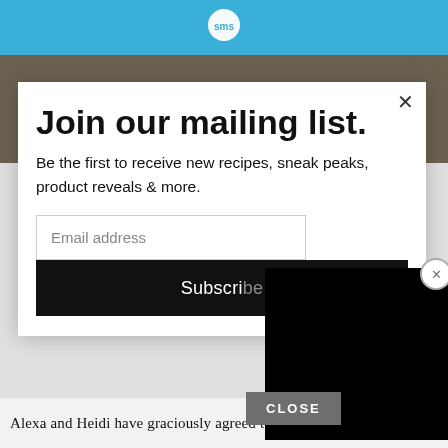[Figure (logo): SMS chat bubble logo in white on blue header bar]
[Figure (photo): Dimmed background photo of food/kitchen scene]
Join our mailing list.
Be the first to receive new recipes, sneak peaks, product reveals & more.
Email address
Subscribe
CLOSE
Alexa and Heidi have graciously agreed to giveaway TWO